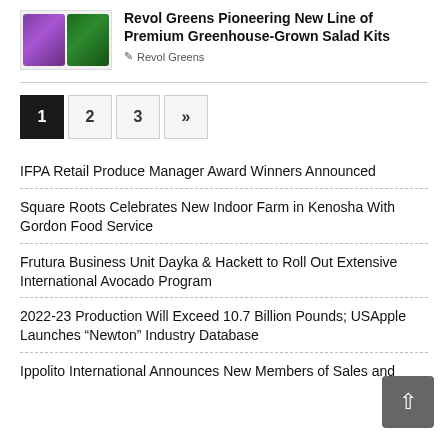[Figure (photo): Two salad kit product packages side by side — left package with purple branding, right with green branding for Revol Greens]
Revol Greens Pioneering New Line of Premium Greenhouse-Grown Salad Kits
Revol Greens
1 2 3 »
IFPA Retail Produce Manager Award Winners Announced
Square Roots Celebrates New Indoor Farm in Kenosha With Gordon Food Service
Frutura Business Unit Dayka & Hackett to Roll Out Extensive International Avocado Program
2022-23 Production Will Exceed 10.7 Billion Pounds; USApple Launches “Newton” Industry Database
Ippolito International Announces New Members of Sales and